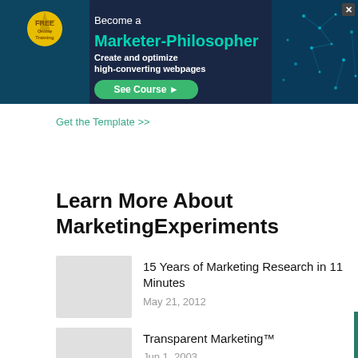[Figure (infographic): Dark navy banner ad: FREE Online Training badge/seal on left with teal network brain graphic on right. Text reads 'Become a Marketer-Philosopher Create and optimize high-converting webpages' with a green 'See Course ►' button and an X close button.]
Get the Template >>
Learn More About MarketingExperiments
15 Years of Marketing Research in 11 Minutes
May 21, 2012
Transparent Marketing™
Jun 1, 2003